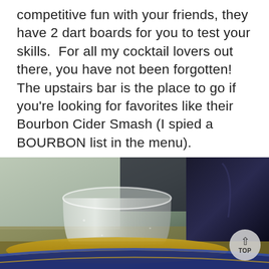competitive fun with your friends, they have 2 dart boards for you to test your skills.  For all my cocktail lovers out there, you have not been forgotten!  The upstairs bar is the place to go if you're looking for favorites like their Bourbon Cider Smash (I spied a BOURBON list in the menu).
[Figure (photo): Close-up photograph of a clear glass tumbler and a blue-rimmed glass on a bar surface, with golden liquid (likely a cocktail or cider) visible in the lower portion.]